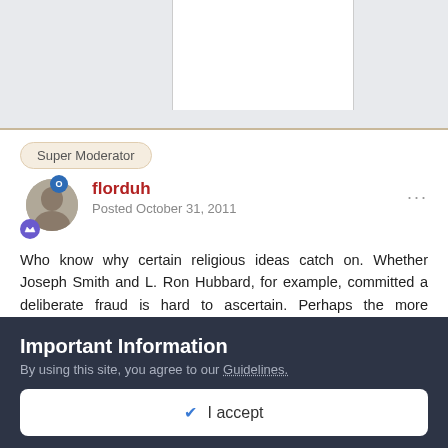[Figure (screenshot): Top gray bar with white box inset, representing a forum page header area]
Super Moderator
florduh
Posted October 31, 2011
Who know why certain religious ideas catch on. Whether Joseph Smith and L. Ron Hubbard, for example, committed a deliberate fraud is hard to ascertain. Perhaps the more outrageous and unfounded a concept is the better it catches on with the gullible. I mean, if you want to believe a lie, why not make it a whopper?
Important Information
By using this site, you agree to our Guidelines.
✔ I accept